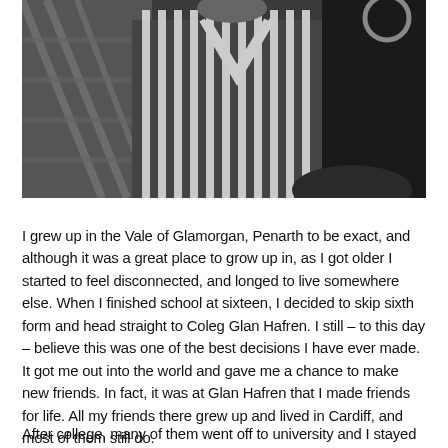[Figure (photo): Black and white photograph of a person wearing a striped shirt, seated outdoors near what appears to be a railing or fence structure.]
I grew up in the Vale of Glamorgan, Penarth to be exact, and although it was a great place to grow up in, as I got older I started to feel disconnected, and longed to live somewhere else. When I finished school at sixteen, I decided to skip sixth form and head straight to Coleg Glan Hafren. I still – to this day – believe this was one of the best decisions I have ever made. It got me out into the world and gave me a chance to make new friends. In fact, it was at Glan Hafren that I made friends for life. All my friends there grew up and lived in Cardiff, and most of them still do.
After college, many of them went off to university and I stayed